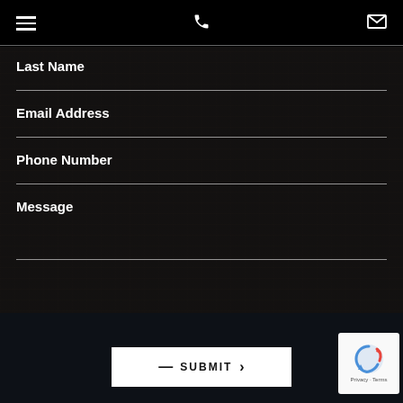Navigation bar with hamburger menu, phone icon, and mail icon
Last Name
Email Address
Phone Number
Message
SUBMIT